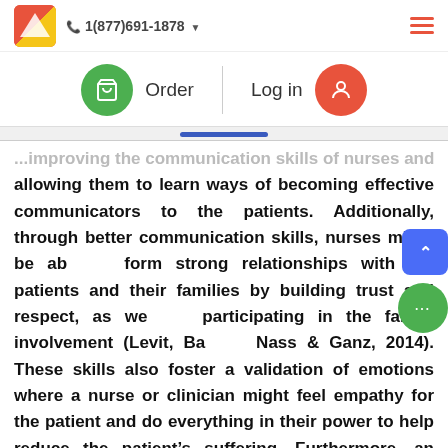1(877)691-1878
Order   Log in
...improving the communication skills of nurses and allowing them to learn ways of becoming effective communicators to the patients. Additionally, through better communication skills, nurses might be able to form strong relationships with the patients and their families by building trust and respect, as well as participating in the family involvement (Levit, Balogh, Nass & Ganz, 2014). These skills also foster a validation of emotions where a nurse or clinician might feel empathy for the patient and do everything in their power to help reduce the patient’s suffering. Furthermore, an improved clinician-patient communication fosters improved adherence to the